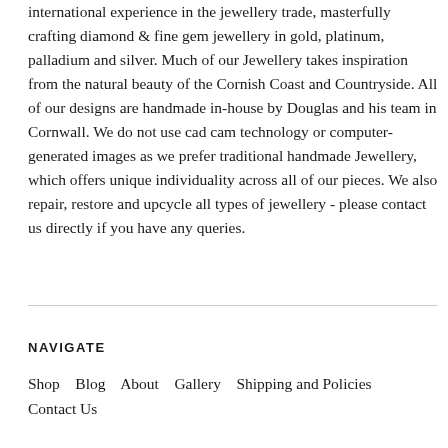international experience in the jewellery trade, masterfully crafting diamond & fine gem jewellery in gold, platinum, palladium and silver. Much of our Jewellery takes inspiration from the natural beauty of the Cornish Coast and Countryside. All of our designs are handmade in-house by Douglas and his team in Cornwall. We do not use cad cam technology or computer-generated images as we prefer traditional handmade Jewellery, which offers unique individuality across all of our pieces. We also repair, restore and upcycle all types of jewellery - please contact us directly if you have any queries.
NAVIGATE
Shop   Blog   About   Gallery   Shipping and Policies   Contact Us